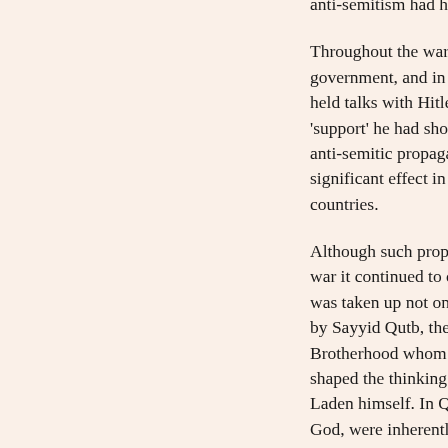anti-semitism had helped to establish.

Throughout the war Hajj Amin remained in touch with the Nazi government, and in 1941, having fled via Syria he held talks with Hitler in which he thanked him for the 'support' he had shown for the Palestinians. During the war anti-semitic propaganda broadcast in Arabic from Berlin had significant effect in Egypt, Iraq, Morocco, Tunisia and other countries.

Although such propaganda disappeared from Europe after the war it continued to circulate in the Arab world. Nazi ideology was taken up not only by Nasser, but also, in a purer form, by Sayyid Qutb, the western-influenced ideologue of the Muslim Brotherhood whom Nasser executed and who, more than anyone, shaped the thinking of modern, militant Islam including Bin Laden himself. In Qutb's view, Jews, who had always fought God, were inherently evil: 'From such creatures who kill God, defame prophets, one can only expect the spilling of human blood and dirty means which would further their machinations.'

What this intricate story should serve to demonstrate is that the destructive form which anti-semitism has now assumed within Islam, though it undoubtedly does have precursors within the Muslim tradition, is not authentically Islamic; this virulent anti-semitism is distinctively western. Certainly the